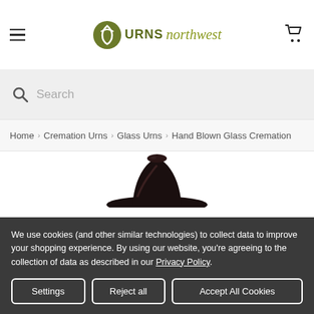URNS northwest
Search
Home › Cremation Urns › Glass Urns › Hand Blown Glass Cremation
[Figure (photo): Top portion of a dark glass cremation urn visible against white background]
We use cookies (and other similar technologies) to collect data to improve your shopping experience. By using our website, you're agreeing to the collection of data as described in our Privacy Policy.
Settings  Reject all  Accept All Cookies